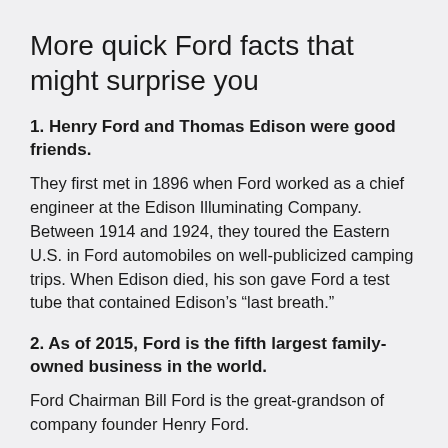More quick Ford facts that might surprise you
1. Henry Ford and Thomas Edison were good friends.
They first met in 1896 when Ford worked as a chief engineer at the Edison Illuminating Company. Between 1914 and 1924, they toured the Eastern U.S. in Ford automobiles on well-publicized camping trips. When Edison died, his son gave Ford a test tube that contained Edison’s “last breath.”
2. As of 2015, Ford is the fifth largest family-owned business in the world.
Ford Chairman Bill Ford is the great-grandson of company founder Henry Ford.